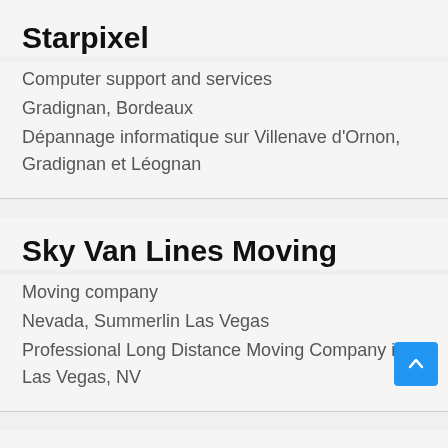Starpixel
Computer support and services
Gradignan, Bordeaux
Dépannage informatique sur Villenave d'Ornon, Gradignan et Léognan
Sky Van Lines Moving
Moving company
Nevada, Summerlin Las Vegas
Professional Long Distance Moving Company in Las Vegas, NV
NV Locksmith LLC